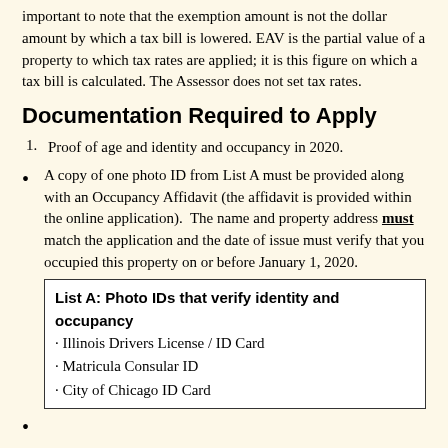important to note that the exemption amount is not the dollar amount by which a tax bill is lowered. EAV is the partial value of a property to which tax rates are applied; it is this figure on which a tax bill is calculated. The Assessor does not set tax rates.
Documentation Required to Apply
1. Proof of age and identity and occupancy in 2020.
A copy of one photo ID from List A must be provided along with an Occupancy Affidavit (the affidavit is provided within the online application).  The name and property address must match the application and the date of issue must verify that you occupied this property on or before January 1, 2020.
| List A: Photo IDs that verify identity and occupancy |
| • Illinois Drivers License / ID Card |
| • Matricula Consular ID |
| • City of Chicago ID Card |
If the address on your photo ID does not match the property address, include a copy of one document